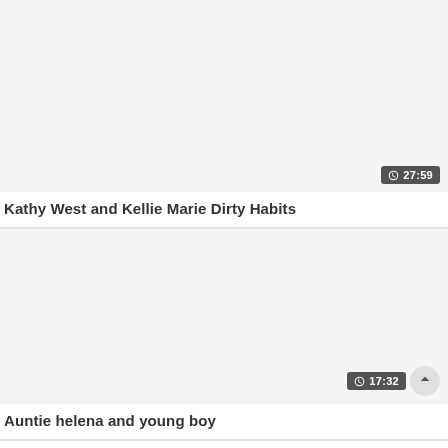[Figure (screenshot): Video thumbnail placeholder for 'Kathy West and Kellie Marie Dirty Habits' with duration badge showing 27:59]
Kathy West and Kellie Marie Dirty Habits
[Figure (screenshot): Video thumbnail placeholder for 'Auntie helena and young boy' with duration badge showing 17:32]
Auntie helena and young boy